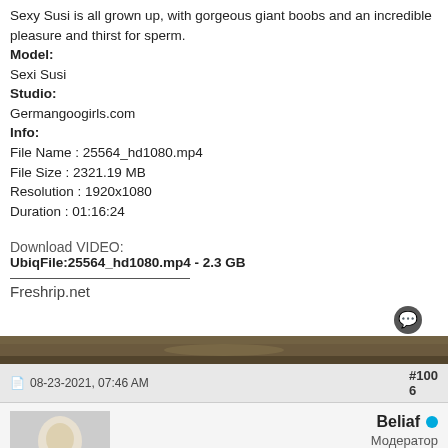Sexy Susi is all grown up, with gorgeous giant boobs and an incredible pleasure and thirst for sperm.
Model:
Sexi Susi
Studio:
Germangoogirls.com
Info:
File Name : 25564_hd1080.mp4
File Size : 2321.19 MB
Resolution : 1920x1080
Duration : 01:16:24
Download VIDEO:
UbiqFile:25564_hd1080.mp4 - 2.3 GB
Freshrip.net
[Figure (photo): Dark nature/outdoor image strip]
08-23-2021, 07:46 AM
#1006
[Figure (photo): User avatar showing angelic figure in white]
Beliaf
Модератор